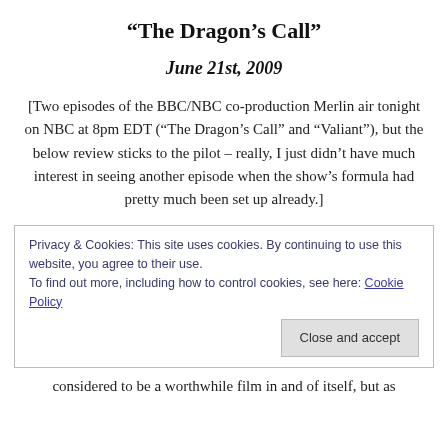“The Dragon’s Call”
June 21st, 2009
[Two episodes of the BBC/NBC co-production Merlin air tonight on NBC at 8pm EDT (“The Dragon’s Call” and “Valiant”), but the below review sticks to the pilot – really, I just didn’t have much interest in seeing another episode when the show’s formula had pretty much been set up already.]
Privacy & Cookies: This site uses cookies. By continuing to use this website, you agree to their use.
To find out more, including how to control cookies, see here: Cookie Policy
[Close and accept button]
considered to be a worthwhile film in and of itself, but as